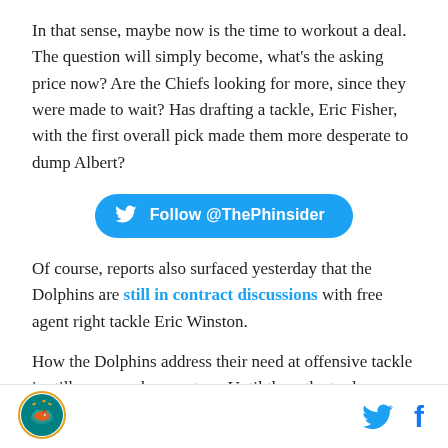In that sense, maybe now is the time to workout a deal. The question will simply become, what's the asking price now? Are the Chiefs looking for more, since they were made to wait? Has drafting a tackle, Eric Fisher, with the first overall pick made them more desperate to dump Albert?
[Figure (other): Twitter follow button: Follow @ThePhinsider]
Of course, reports also surfaced yesterday that the Dolphins are still in contract discussions with free agent right tackle Eric Winston.
How the Dolphins address their need at offensive tackle is still very much a mystery. Until then, the trade
Miami Dolphins logo | Twitter icon | Facebook icon